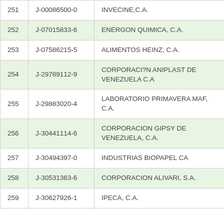| # | RIF | Company Name |
| --- | --- | --- |
| 251 | J-00086500-0 | INVECINE,C.A. |
| 252 | J-07015833-6 | ENERGON QUIMICA, C.A. |
| 253 | J-07586215-5 | ALIMENTOS HEINZ, C.A. |
| 254 | J-29789112-9 | CORPORACI?N ANIPLAST DE VENEZUELA C.A |
| 255 | J-29883020-4 | LABORATORIO PRIMAVERA MAF, C.A. |
| 256 | J-30441114-6 | CORPORACION GIPSY DE VENEZUELA, C.A. |
| 257 | J-30494397-0 | INDUSTRIAS BIOPAPEL CA |
| 258 | J-30531363-6 | CORPORACION ALIVARI, S.A. |
| 259 | J-30627926-1 | IPECA, C.A. |